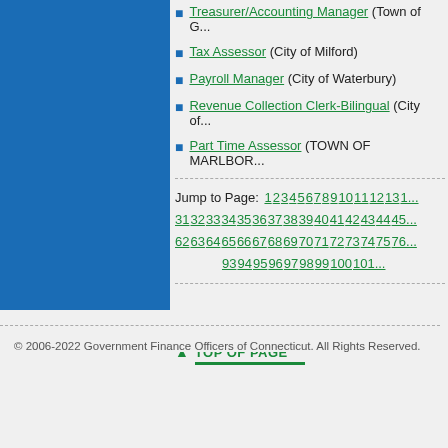Treasurer/Accounting Manager (Town of G...)
Tax Assessor (City of Milford)
Payroll Manager (City of Waterbury)
Revenue Collection Clerk-Bilingual (City of...)
Part Time Assessor (TOWN OF MARLBOR...)
Jump to Page: 1 2 3 4 5 6 7 8 9 10 11 12 13 1... 31 32 33 34 35 36 37 38 39 40 41 42 43 44 45... 62 63 64 65 66 67 68 69 70 71 72 73 74 75 76... 93 94 95 96 97 98 99 100 101...
▲ TOP OF PAGE
© 2006-2022 Government Finance Officers of Connecticut. All Rights Reserved.